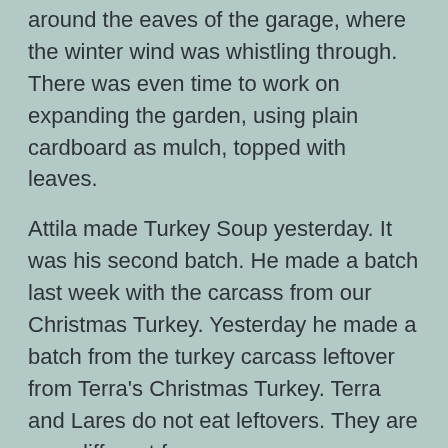around the eaves of the garage, where the winter wind was whistling through. There was even time to work on expanding the garden, using plain cardboard as mulch, topped with leaves.
Attila made Turkey Soup yesterday. It was his second batch. He made a batch last week with the carcass from our Christmas Turkey. Yesterday he made a batch from the turkey carcass leftover from Terra's Christmas Turkey. Terra and Lares do not eat leftovers. They are very different from us.